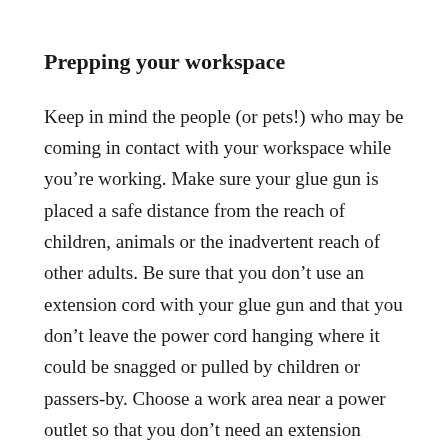Prepping your workspace
Keep in mind the people (or pets!) who may be coming in contact with your workspace while you’re working. Make sure your glue gun is placed a safe distance from the reach of children, animals or the inadvertent reach of other adults. Be sure that you don’t use an extension cord with your glue gun and that you don’t leave the power cord hanging where it could be snagged or pulled by children or passers-by. Choose a work area near a power outlet so that you don’t need an extension cord. It’s also important to choose a workspace that’s clean (or use a drop cloth) and free from